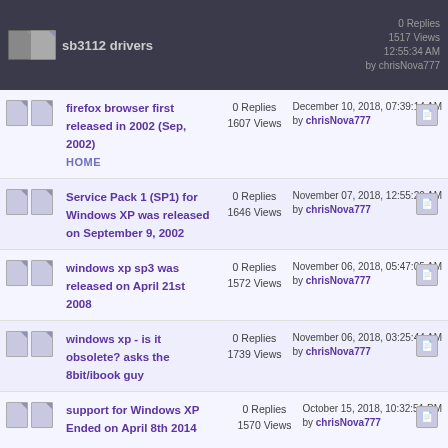sb3112 drivers — 0 Replies, 1517 Views, by chrisNova777
firefox browser first released in 2002 (Sep, 2002) — 0 Replies, 1607 Views — December 10, 2018, 07:39:14 AM by chrisNova777
Service Pack 1 (SP1) for Windows XP was released on September 9, 2002 — 0 Replies, 1646 Views — November 07, 2018, 12:55:20 AM by chrisNova777
windows xp sp3 was released on April 21st 2008 — 0 Replies, 1572 Views — November 06, 2018, 05:47:05 AM by chrisNova777
windows xp - is it obsolete? asks the 8bit/ibook guy — 0 Replies, 1739 Views — November 06, 2018, 03:25:44 AM by chrisNova777
support for Windows XP Ended on April 8th 2014 — 0 Replies, 1570 Views — October 15, 2018, 10:32:51 PM by chrisNova777
Run the original Atari Cubase On Windows XP!! via STEEM Engine — 6 Replies, 8991 Views — April 10, 2018, 12:31:06 PM by chrisNova777